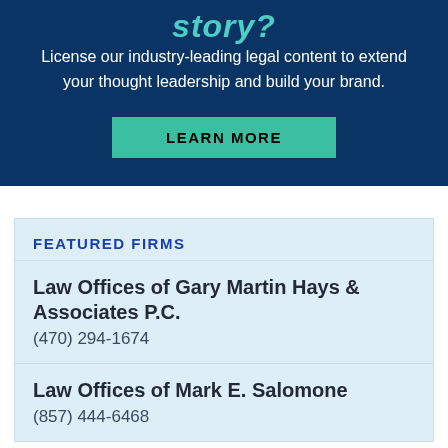story?
License our industry-leading legal content to extend your thought leadership and build your brand.
LEARN MORE
FEATURED FIRMS
Law Offices of Gary Martin Hays & Associates P.C.
(470) 294-1674
Law Offices of Mark E. Salomone
(857) 444-6468